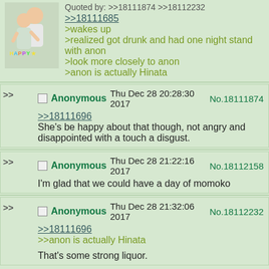[Figure (photo): Photo of two young women, one giving the other a piggyback ride, with colorful text overlay]
Quoted by: >>18111874 >>18112232
>>18111685
>wakes up
>realized got drunk and had one night stand with anon
>look more closely to anon
>anon is actually Hinata
Anonymous Thu Dec 28 20:28:30 2017 No.18111874
>>18111696
She's be happy about that though, not angry and disappointed with a touch a disgust.
Anonymous Thu Dec 28 21:22:16 2017 No.18112158
I'm glad that we could have a day of momoko
Anonymous Thu Dec 28 21:32:06 2017 No.18112232
>>18111696
>>anon is actually Hinata
That's some strong liquor.